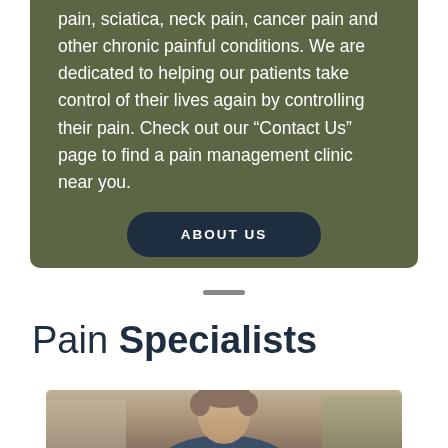pain, sciatica, neck pain, cancer pain and other chronic painful conditions. We are dedicated to helping our patients take control of their lives again by controlling their pain. Check out our “Contact Us” page to find a pain management clinic near you.
ABOUT US
Pain Specialists
[Figure (photo): Headshot photo of a male pain specialist doctor, middle-aged with gray-brown hair, wearing professional attire, photographed indoors.]